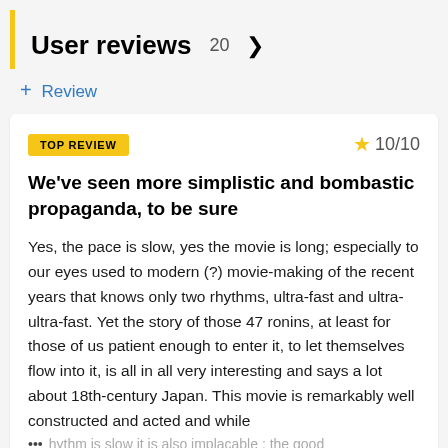User reviews 20 >
+ Review
TOP REVIEW
10/10
We've seen more simplistic and bombastic propaganda, to be sure
Yes, the pace is slow, yes the movie is long; especially to our eyes used to modern (?) movie-making of the recent years that knows only two rhythms, ultra-fast and ultra-ultra-fast. Yet the story of those 47 ronins, at least for those of us patient enough to enter it, to let themselves flow into it, is all in all very interesting and says a lot about 18th-century Japan. This movie is remarkably well constructed and acted and while
... hythm is slow it is also implacable ; the good